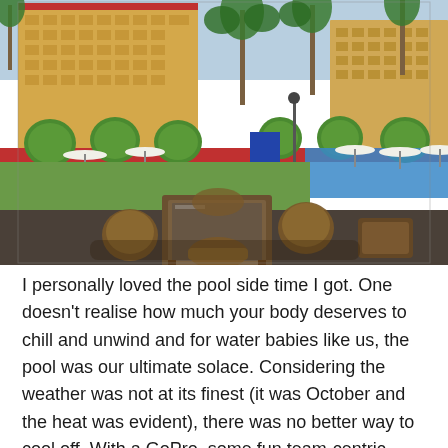[Figure (photo): Outdoor poolside area of a resort hotel. In the background, a large multi-storey yellow hotel building with balconies and palm trees. The middle ground shows a pool area with sun umbrellas, lush green round topiary bushes, and a lamppost. The foreground features a tiled patio with wicker/rattan outdoor furniture — a square table with four chairs and additional chairs to the right. Grass lawn visible between the patio and pool area.]
I personally loved the pool side time I got. One doesn't realise how much your body deserves to chill and unwind and for water babies like us, the pool was our ultimate solace. Considering the weather was not at its finest (it was October and the heat was evident), there was no better way to cool off. With a GoPro, some fun team-centric games and a couple